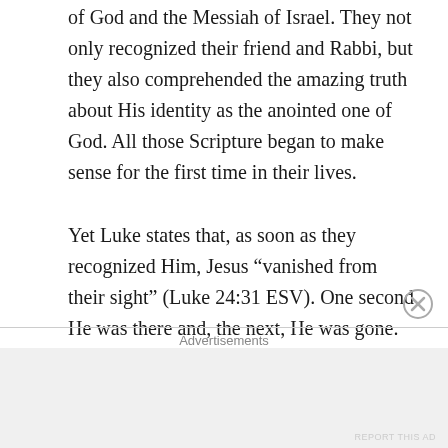of God and the Messiah of Israel. They not only recognized their friend and Rabbi, but they also comprehended the amazing truth about His identity as the anointed one of God. All those Scripture began to make sense for the first time in their lives.
Yet Luke states that, as soon as they recognized Him, Jesus “vanished from their sight” (Luke 24:31 ESV). One second He was there and, the next, He was gone. He simply disappeared from sight. But this time, His departure didn’t leave them saddened hearts. In fact, they immediately declared, “Didn’t our hearts burn within us as he talked with us on the road and explained the Scriptures to us?” (Luke 24:32 NLT). What a contrast
Advertisements